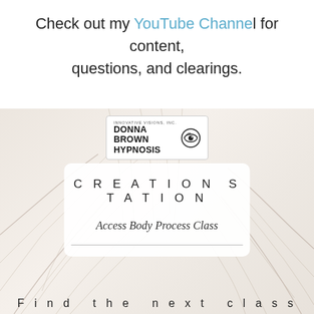Check out my YouTube Channel for content, questions, and clearings.
[Figure (infographic): Donna Brown Hypnosis branded card showing 'CREATION STATION / Access Body Process Class' with dandelion/feather background and logo, plus 'Find the next class' text at bottom.]